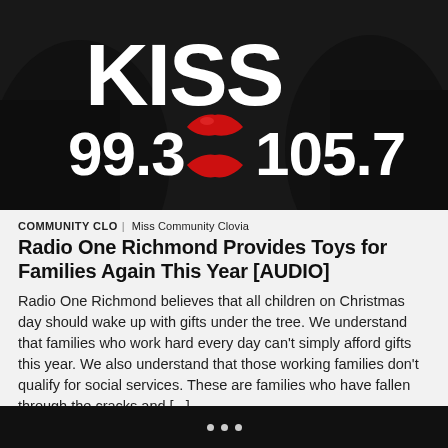[Figure (logo): KISS 99.3 and 105.7 radio station logo on dark background with red lips graphic]
COMMUNITY CLO | Miss Community Clovia
Radio One Richmond Provides Toys for Families Again This Year [AUDIO]
Radio One Richmond believes that all children on Christmas day should wake up with gifts under the tree. We understand that families who work hard every day can't simply afford gifts this year. We also understand that those working families don't qualify for social services. These are families who have fallen through the cracks and [...]